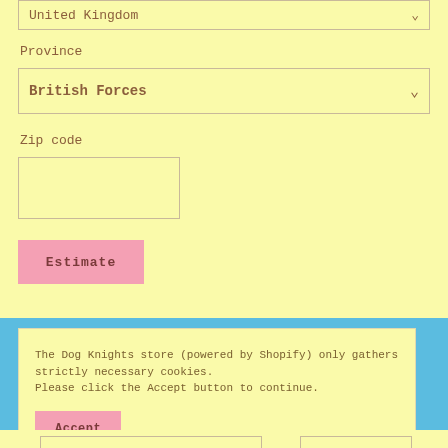United Kingdom
Province
British Forces
Zip code
Estimate
The Dog Knights store (powered by Shopify) only gathers strictly necessary cookies. Please click the Accept button to continue.
Accept